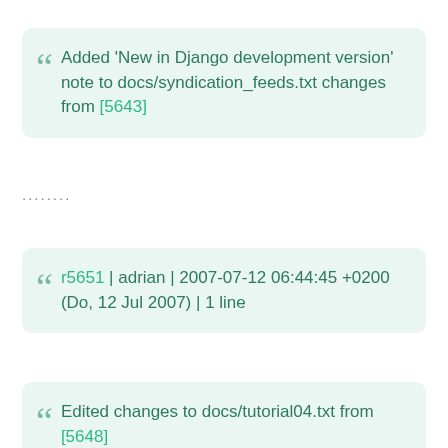Added 'New in Django development version' note to docs/syndication_feeds.txt changes from [5643]
........
r5651 | adrian | 2007-07-12 06:44:45 +0200 (Do, 12 Jul 2007) | 1 line
Edited changes to docs/tutorial04.txt from [5648]